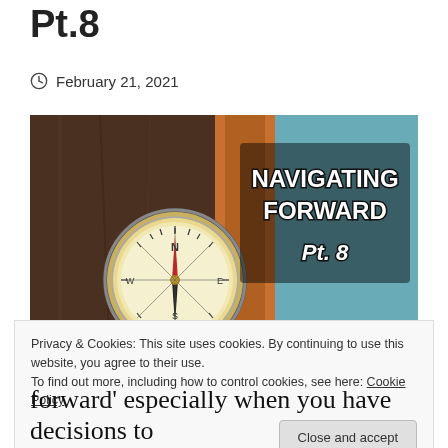Pt.8
February 21, 2021
[Figure (photo): Compass on wooden surface with text overlay: NAVIGATING FORWARD Pt. 8]
Privacy & Cookies: This site uses cookies. By continuing to use this website, you agree to their use.
To find out more, including how to control cookies, see here: Cookie Policy
Close and accept
forward' especially when you have decisions to